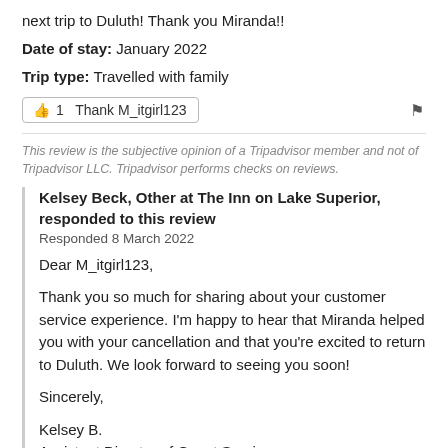next trip to Duluth! Thank you Miranda!!
Date of stay: January 2022
Trip type: Travelled with family
👍 1  Thank M_itgirl123
This review is the subjective opinion of a Tripadvisor member and not of Tripadvisor LLC. Tripadvisor performs checks on reviews.
Kelsey Beck, Other at The Inn on Lake Superior, responded to this review
Responded 8 March 2022
Dear M_itgirl123,

Thank you so much for sharing about your customer service experience. I'm happy to hear that Miranda helped you with your cancellation and that you're excited to return to Duluth. We look forward to seeing you soon!

Sincerely,

Kelsey B.
Assistant Director of Guest Services